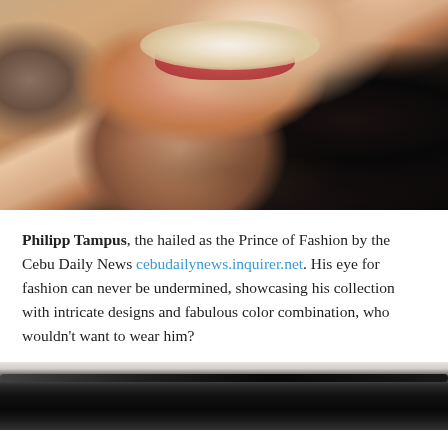[Figure (photo): Close-up photo of a man's lower face showing a smile with teeth, stubble beard. Dark background on the right.]
Philipp Tampus, the hailed as the Prince of Fashion by the Cebu Daily News cebudailynews.inquirer.net. His eye for fashion can never be undermined, showcasing his collection with intricate designs and fabulous color combination, who wouldn't want to wear him?
[Figure (photo): Partial photo showing dark cylindrical object, possibly a microphone or equipment, with light background at the top.]